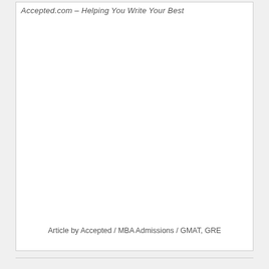Accepted.com – Helping You Write Your Best
Article by Accepted / MBA Admissions / GMAT, GRE